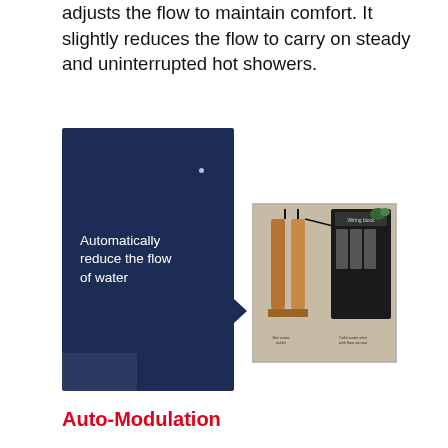adjusts the flow to maintain comfort. It slightly reduces the flow to carry on steady and uninterrupted hot showers.
[Figure (illustration): Dark navy blue panel/card with white text reading 'Automatically reduce the flow of water', with a small arrow on the right side]
[Figure (photo): Photo of a tankless water heater internal components showing copper pipes, wiring block, and water connections with labels for hot water outlet and cold water inlet with flow sensor]
Auto-Modulation
This is an Eco-friendly unit. Its auto-modulation feature along with the ability to electronically